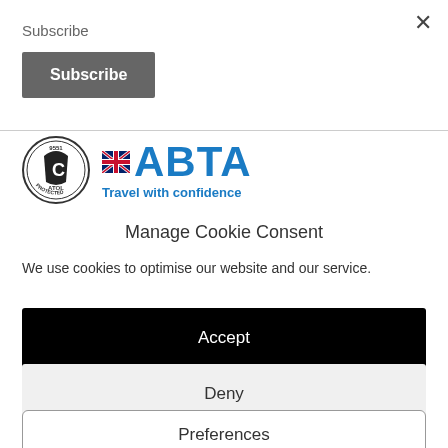Subscribe
Subscribe
[Figure (logo): ATOL Protected circular badge logo with number 9551, and ABTA logo with text 'Travel with confidence']
Manage Cookie Consent
We use cookies to optimise our website and our service.
Accept
Deny
Preferences